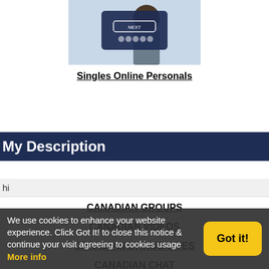[Figure (photo): Screenshot of a dating app interface showing a couple and a NEXT button, partially cropped]
Singles Online Personals
My Description
hi
CANADIAN GROUPS
CANADIAN VIDEOS
CANADIAN DATING SITES
CANADIAN CHAT
We use cookies to enhance your website experience. Click Got It! to close this notice & continue your visit agreeing to cookies usage More info